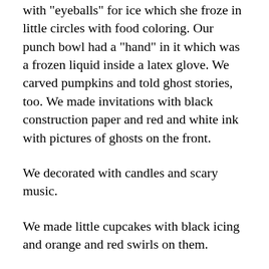with "eyeballs" for ice which she froze in little circles with food coloring. Our punch bowl had a "hand" in it which was a frozen liquid inside a latex glove. We carved pumpkins and told ghost stories, too. We made invitations with black construction paper and red and white ink with pictures of ghosts on the front.
We decorated with candles and scary music.
We made little cupcakes with black icing and orange and red swirls on them.
We went out in the back yard where my dad chased us around dressed in his scary halloween costume.
We watched "April Fools" and most of the Friday the 13th movies.